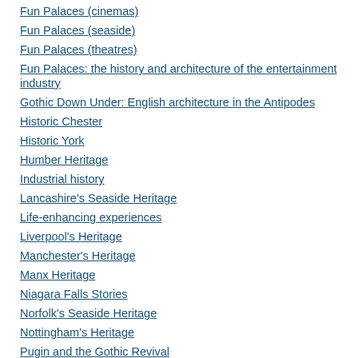Fun Palaces (cinemas)
Fun Palaces (seaside)
Fun Palaces (theatres)
Fun Palaces: the history and architecture of the entertainment industry
Gothic Down Under: English architecture in the Antipodes
Historic Chester
Historic York
Humber Heritage
Industrial history
Lancashire's Seaside Heritage
Life-enhancing experiences
Liverpool's Heritage
Manchester's Heritage
Manx Heritage
Niagara Falls Stories
Norfolk's Seaside Heritage
Nottingham's Heritage
Pugin and the Gothic Revival